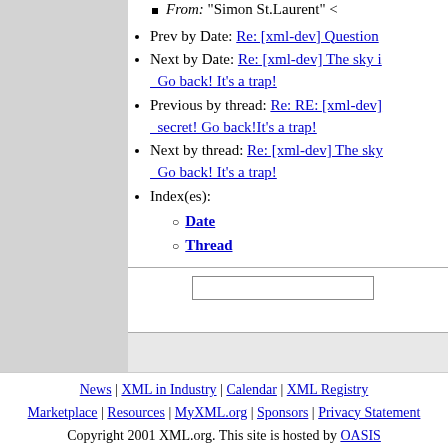From: "Simon St.Laurent" <
Prev by Date: Re: [xml-dev] Question
Next by Date: Re: [xml-dev] The sky i... Go back! It's a trap!
Previous by thread: Re: RE: [xml-dev]... secret! Go back!It's a trap!
Next by thread: Re: [xml-dev] The sky... Go back! It's a trap!
Index(es):
Date
Thread
News | XML in Industry | Calendar | XML Registry | Marketplace | Resources | MyXML.org | Sponsors | Privacy Statement
Copyright 2001 XML.org. This site is hosted by OASIS